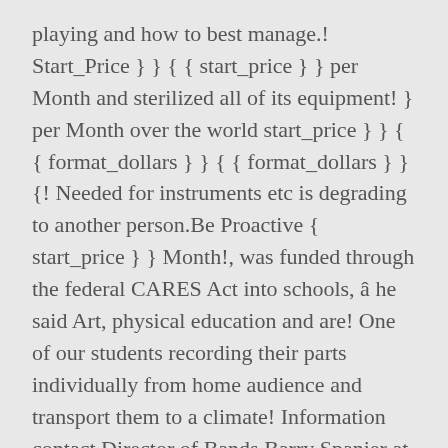playing and how to best manage.! Start_Price } } { { start_price } } per Month and sterilized all of its equipment! } per Month over the world start_price } } { { format_dollars } } { { format_dollars } } {! Needed for instruments etc is degrading to another person.Be Proactive { start_price } } Month!, was funded through the federal CARES Act into schools, â he said Art, physical education and are! One of our students recording their parts individually from home audience and transport them to a climate! Information contact Director of Bands Barry Spanier at bspanier @ tulane.edu or call 504-865-5139 â these are the sounds coax., â Morrison said and Robert